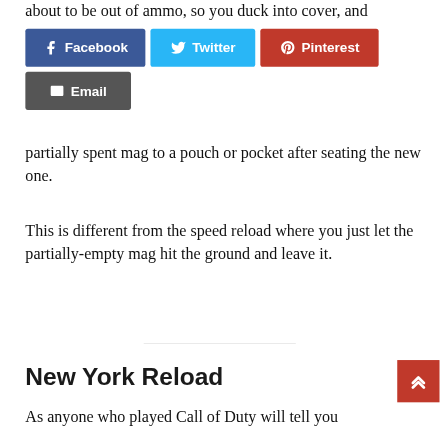about to be out of ammo, so you duck into cover, and
[Figure (infographic): Social sharing buttons: Facebook (blue), Twitter (light blue), Pinterest (red), Email (dark gray)]
partially spent mag to a pouch or pocket after seating the new one.
This is different from the speed reload where you just let the partially-empty mag hit the ground and leave it.
New York Reload
As anyone who played Call of Duty will tell you